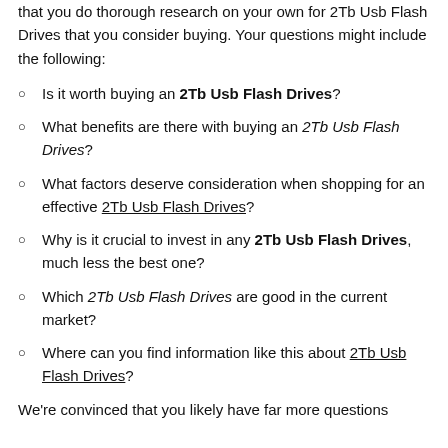that you do thorough research on your own for 2Tb Usb Flash Drives that you consider buying. Your questions might include the following:
Is it worth buying an 2Tb Usb Flash Drives?
What benefits are there with buying an 2Tb Usb Flash Drives?
What factors deserve consideration when shopping for an effective 2Tb Usb Flash Drives?
Why is it crucial to invest in any 2Tb Usb Flash Drives, much less the best one?
Which 2Tb Usb Flash Drives are good in the current market?
Where can you find information like this about 2Tb Usb Flash Drives?
We're convinced that you likely have far more questions